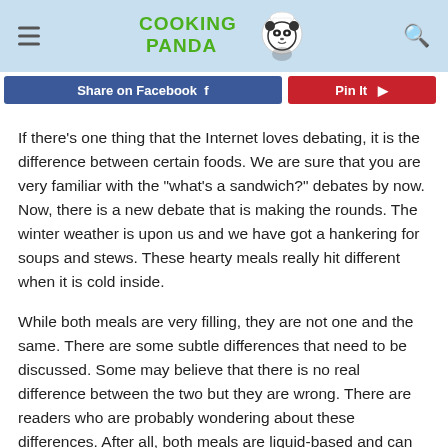COOKING PANDA
[Figure (screenshot): Partial social sharing buttons: blue Facebook share button and red Pinterest pin button]
If there’s one thing that the Internet loves debating, it is the difference between certain foods. We are sure that you are very familiar with the “what’s a sandwich?” debates by now. Now, there is a new debate that is making the rounds. The winter weather is upon us and we have got a hankering for soups and stews. These hearty meals really hit different when it is cold inside.
While both meals are very filling, they are not one and the same. There are some subtle differences that need to be discussed. Some may believe that there is no real difference between the two but they are wrong. There are readers who are probably wondering about these differences. After all, both meals are liquid-based and can often contain the exact same ingredients. We understand why it can be a bit confusing.